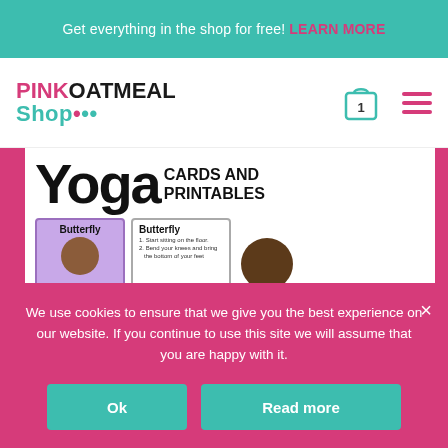Get everything in the shop for free! LEARN MORE
[Figure (logo): Pink Oatmeal Shop logo with pink and teal coloring and decorative dots]
[Figure (illustration): Shopping cart icon with number 1 and hamburger menu icon]
[Figure (illustration): Yoga Cards and Printables product image showing butterfly yoga pose cards]
We use cookies to ensure that we give you the best experience on our website. If you continue to use this site we will assume that you are happy with it.
Ok
Read more